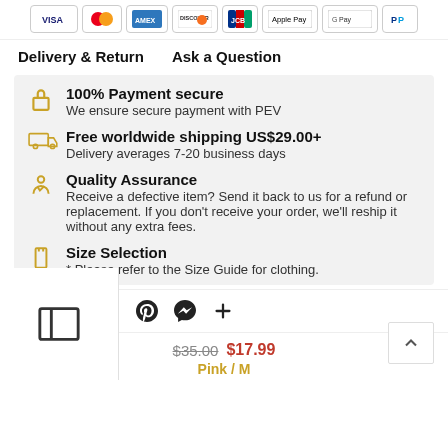[Figure (other): Row of payment method icons: Visa, Mastercard, Amex, Discover, JCB, Apple Pay, Google Pay, PayPal]
Delivery & Return    Ask a Question
100% Payment secure
We ensure secure payment with PEV
Free worldwide shipping US$29.00+
Delivery averages 7-20 business days
Quality Assurance
Receive a defective item? Send it back to us for a refund or replacement. If you don't receive your order, we'll reship it without any extra fees.
Size Selection
* Please refer to the Size Guide for clothing.
[Figure (other): Social sharing icons: Facebook, Twitter, Email, Pinterest, Messenger, Plus]
$35.00 $17.99
Pink / M